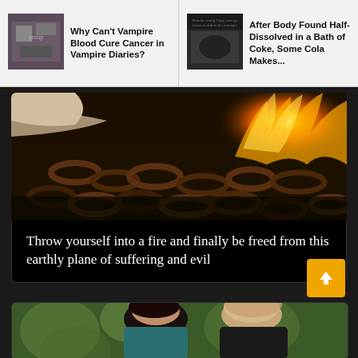[Figure (screenshot): Website navigation bar showing two article previews: left article with thumbnail of group photo and title 'Why Can't Vampire Blood Cure Cancer in Vampire Diaries?'; right article with dark thumbnail and title 'After Body Found Half-Dissolved in a Bath of...']
[Figure (photo): Close-up photo of burning chains with fire and warm orange glow]
Throw yourself into a fire and finally be freed from this earthly plane of suffering and evil
[Figure (photo): Photo of a young woman with dark short hair and a young man with light curly hair looking at each other outdoors with green background]